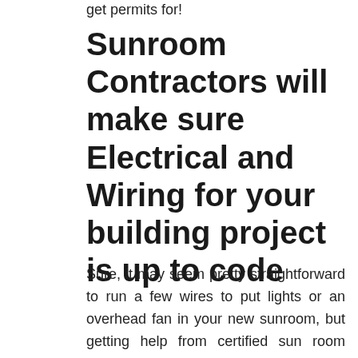get permits for!
Sunroom Contractors will make sure Electrical and Wiring for your building project is up to code
Sure, it may seem pretty straightforward to run a few wires to put lights or an overhead fan in your new sunroom, but getting help from certified sun room addition contractors will help steer you clear of any problems with local building authorities. There are specific laws